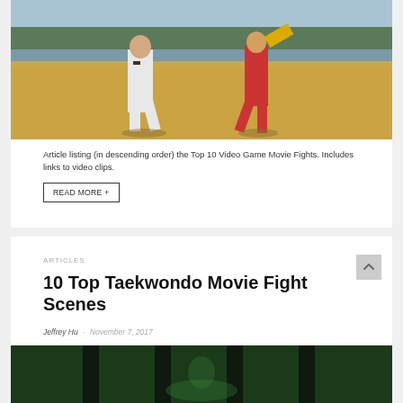[Figure (photo): Two martial artists sparring in a field with brown grass, one in white gi with black belt, one in red uniform, with trees and water in background]
Article listing (in descending order) the Top 10 Video Game Movie Fights. Includes links to video clips.
READ MORE +
ARTICLES
10 Top Taekwondo Movie Fight Scenes
Jeffrey Hu · November 7, 2017
[Figure (photo): Partial image of a second article, showing a dark action scene with vertical elements]